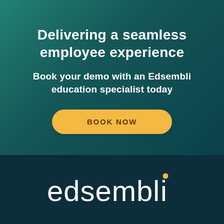Delivering a seamless employee experience
Book your demo with an Edsembli education specialist today
BOOK NOW
[Figure (logo): Edsembli logo in white text with yellow dot on the letter i, on dark teal background]